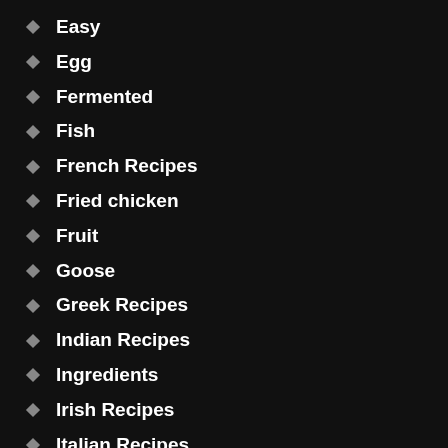Easy
Egg
Fermented
Fish
French Recipes
Fried chicken
Fruit
Goose
Greek Recipes
Indian Recipes
Ingredients
Irish Recipes
Italian Recipes